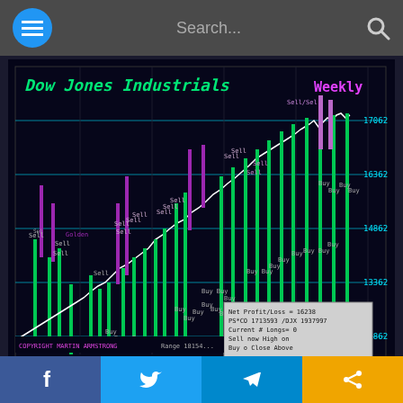[Figure (continuous-plot): Dow Jones Industrials Weekly stock chart showing price action from 2011 to 2013, with Buy and Sell signals marked in green and purple vertical bars respectively. Price levels labeled at 11862, 13362, 14862, 16362, 17062. Chart shows an overall uptrend. Includes copyright Martin Armstrong notice and a data box showing Net Profit/Loss, PS*CO, DJX values, and trade signals.]
The advantage of the Socrates Platform will be a consistent model on everything in the world without human